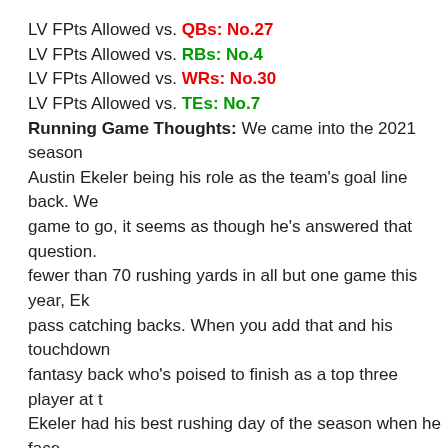LV FPts Allowed vs. QBs: No.27
LV FPts Allowed vs. RBs: No.4
LV FPts Allowed vs. WRs: No.30
LV FPts Allowed vs. TEs: No.7
Running Game Thoughts: We came into the 2021 season questioning Austin Ekeler being his role as the team's goal line back. We game to go, it seems as though he's answered that question. With fewer than 70 rushing yards in all but one game this year, Ekeler pass catching backs. When you add that and his touchdowns, he's a fantasy back who's poised to finish as a top three player at the position.
Ekeler had his best rushing day of the season when he faced yards and a touchdown while adding three receptions for 28 been terrible against opposing running backs all season and finish the regular season strong in this one.
Value Meter:
QB1: Justin Herbert
RB1: Austin Ekeler
WR1: Keenan Allen
WR3: Mike Williams
Bench: Justin Jackson, Jalen Guyton, Josh Palmer, Jared C